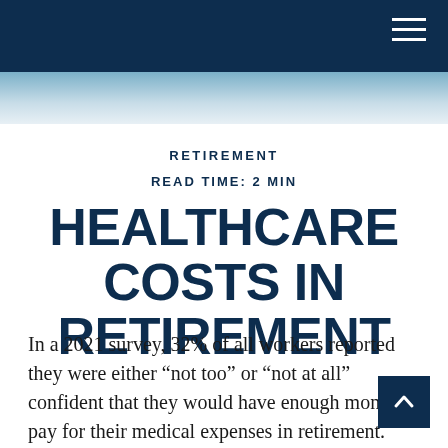[Figure (photo): Dark navy header bar with hamburger menu icon (three white horizontal lines) in the top right, and a partial photograph below showing a teal/blue curved surface (possibly a medical device or helmet)]
RETIREMENT
READ TIME: 2 MIN
HEALTHCARE COSTS IN RETIREMENT
In a 2021 survey, 32% of all workers reported they were either “not too” or “not at all” confident that they would have enough money to pay for their medical expenses in retirement. Regardless of your confidence, however, being